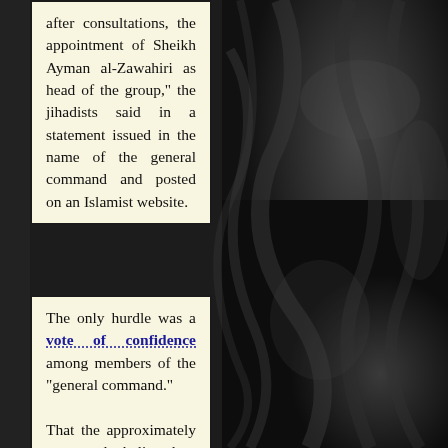after consultations, the appointment of Sheikh Ayman al-Zawahiri as head of the group," the jihadists said in a statement issued in the name of the general command and posted on an Islamist website.
The only hurdle was a vote of confidence among members of the "general command."

That the approximately ten people believed to make up this exclusive body met in
[Figure (photo): Dark textured background, appears to be dark fabric or similar material with folds and shadows, occupying the right half of the page.]